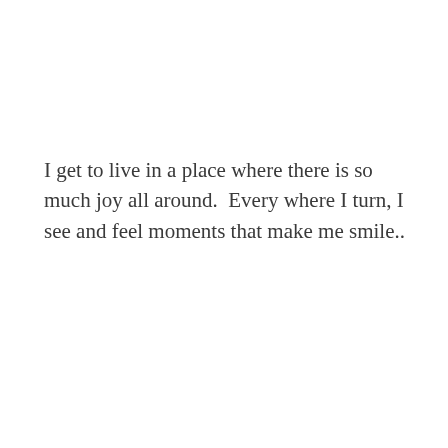I get to live in a place where there is so much joy all around.  Every where I turn, I see and feel moments that make me smile..